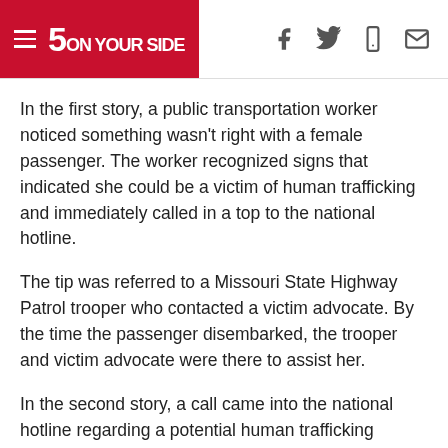5 ON YOUR SIDE
In the first story, a public transportation worker noticed something wasn't right with a female passenger. The worker recognized signs that indicated she could be a victim of human trafficking and immediately called in a top to the national hotline.
The tip was referred to a Missouri State Highway Patrol trooper who contacted a victim advocate. By the time the passenger disembarked, the trooper and victim advocate were there to assist her.
In the second story, a call came into the national hotline regarding a potential human trafficking situation at a hotel. From the time that the person called the hotline to the time officers knocked on the hotel door was 29 minutes.
“These types of stories wouldn’t be possible without tips being reported to the National Human Trafficking Hotline